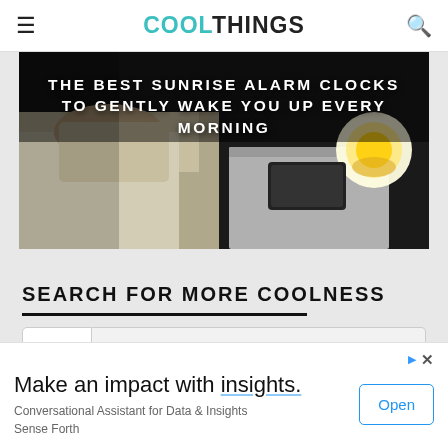COOLTHINGS
[Figure (photo): Hero image of a person sleeping next to a nightstand with a glowing sunrise alarm clock and a smartphone. White bold text overlay reads: THE BEST SUNRISE ALARM CLOCKS TO GENTLY WAKE YOU UP EVERY MORNING]
THE BEST SUNRISE ALARM CLOCKS TO GENTLY WAKE YOU UP EVERY MORNING
SEARCH FOR MORE COOLNESS
Make an impact with insights.
Conversational Assistant for Data & Insights
Sense Forth